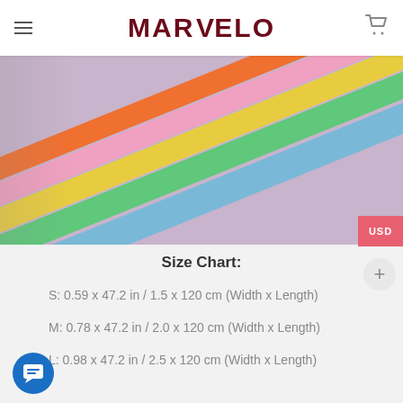MARVELO
[Figure (photo): Colorful elastic resistance bands fanned out on a purple mat — orange, pink, yellow, green, and blue bands visible.]
Size Chart:
S: 0.59 x 47.2 in / 1.5 x 120 cm (Width x Length)
M: 0.78 x 47.2 in / 2.0 x 120 cm (Width x Length)
L: 0.98 x 47.2 in / 2.5 x 120 cm (Width x Length)